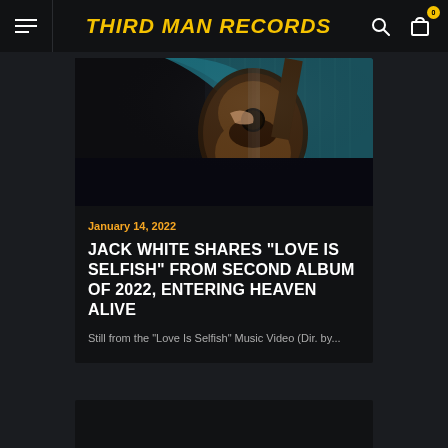THIRD MAN RECORDS
January 14, 2022
JACK WHITE SHARES “LOVE IS SELFISH” FROM SECOND ALBUM OF 2022, ENTERING HEAVEN ALIVE
Still from the “Love Is Selfish” Music Video (Dir. by...)
[Figure (photo): Dark photo of a person in teal/turquoise clothing playing an acoustic guitar, dark background]